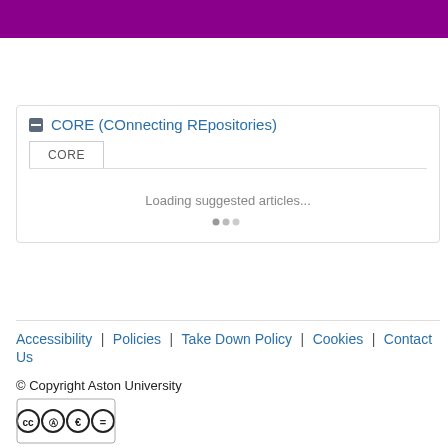[Figure (screenshot): Purple header bar at top of page]
Record administration
CORE (COnnecting REpositories)
CORE
Loading suggested articles...
Accessibility | Policies | Take Down Policy | Cookies | Contact Us
© Copyright Aston University